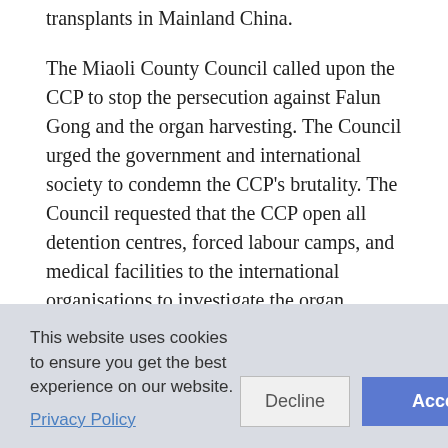transplants in Mainland China.
The Miaoli County Council called upon the CCP to stop the persecution against Falun Gong and the organ harvesting. The Council urged the government and international society to condemn the CCP's brutality. The Council requested that the CCP open all detention centres, forced labour camps, and medical facilities to the international organisations to investigate the organ harvesting.
Mrs. Chou, a parliament member, said that, since March 2006, several witnesses have verified that thousands of Falun Gong practitioners are jailed in several concentration camps
This website uses cookies to ensure you get the best experience on our website.
Privacy Policy